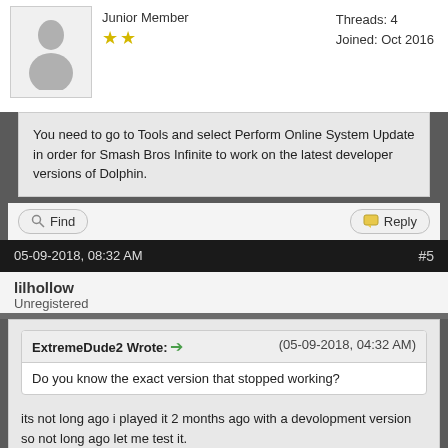Junior Member
Threads: 4
Joined: Oct 2016
You need to go to Tools and select Perform Online System Update in order for Smash Bros Infinite to work on the latest developer versions of Dolphin.
Find
Reply
05-09-2018, 08:32 AM
#5
lilhollow
Unregistered
ExtremeDude2 Wrote: (05-09-2018, 04:32 AM)
Do you know the exact version that stopped working?
its not long ago i played it 2 months ago with a devolopment version so not long ago let me test it.
Reply
05-09-2018, 08:42 AM
#6